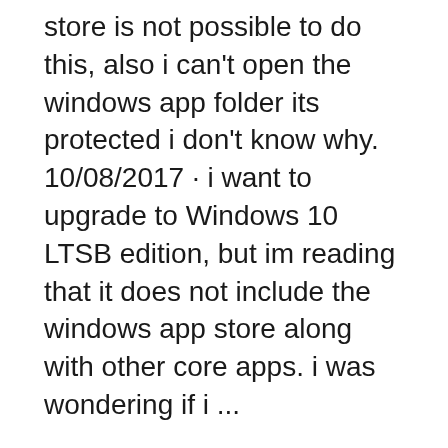store is not possible to do this, also i can't open the windows app folder its protected i don't know why. 10/08/2017 · i want to upgrade to Windows 10 LTSB edition, but im reading that it does not include the windows app store along with other core apps. i was wondering if i ...
What is the benefits from this process if you are going to download the game again and will take long time like FORZA 7, the copy process on STEAM and Origin is really smoothly to backup the game even the GTA setup luncher easy to use copy or backup, but windows store is not possible to do this, also i can't open the windows app folder its